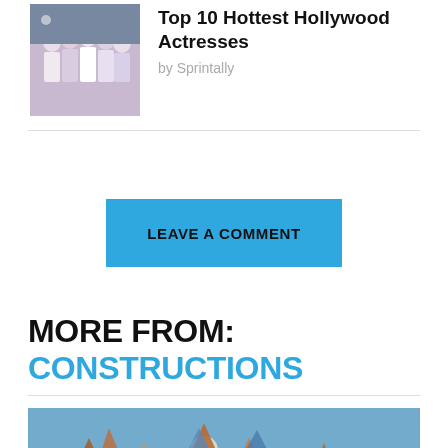[Figure (photo): Thumbnail photo of a group of women in formal dresses]
Top 10 Hottest Hollywood Actresses
by Sprintally
LEAVE A COMMENT
MORE FROM: CONSTRUCTIONS
[Figure (photo): Architectural photo of a modern metallic building structure against a blue sky with a moon visible]